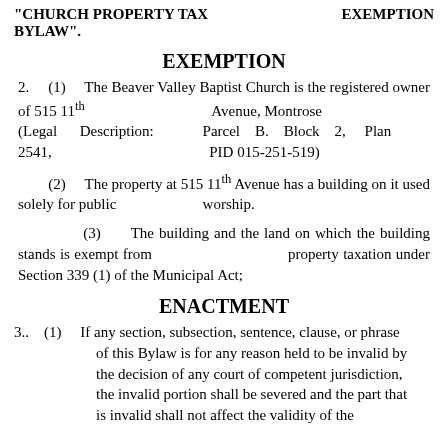"CHURCH PROPERTY TAX BYLAW".    EXEMPTION
EXEMPTION
2.    (1)    The Beaver Valley Baptist Church is the registered owner of 515 11th Avenue, Montrose (Legal Description: Parcel B. Block 2, Plan 2541, PID 015-251-519)
(2)    The property at 515 11th Avenue has a building on it used solely for public worship.
(3)    The building and the land on which the building stands is exempt from property taxation under Section 339 (1) of the Municipal Act;
ENACTMENT
3..    (1)    If any section, subsection, sentence, clause, or phrase of this Bylaw is for any reason held to be invalid by the decision of any court of competent jurisdiction, the invalid portion shall be severed and the part that is invalid shall not affect the validity of the